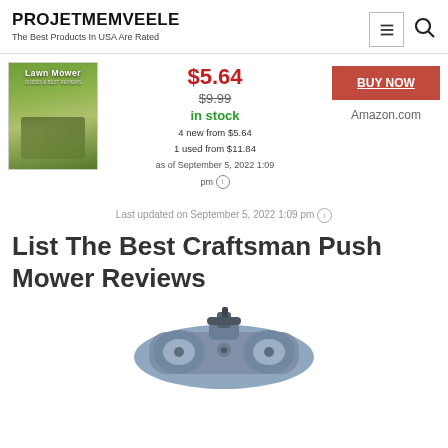PROJETMEMVEELE — The Best Products In USA Are Rated
[Figure (photo): Book cover for 'Lawn Mower' with person on riding mower on green lawn]
$5.64
$9.99
in stock
4 new from $5.64
1 used from $11.84
as of September 5, 2022 1:09 pm
BUY NOW
Amazon.com
Last updated on September 5, 2022 1:09 pm
List The Best Craftsman Push Mower Reviews
[Figure (photo): Metal lawn mower part — a blue-grey cast metal component]